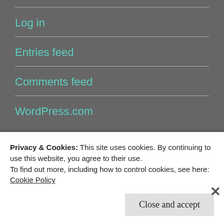Log in
Entries feed
Comments feed
WordPress.com
Advertisements
Privacy & Cookies: This site uses cookies. By continuing to use this website, you agree to their use.
To find out more, including how to control cookies, see here: Cookie Policy
Close and accept